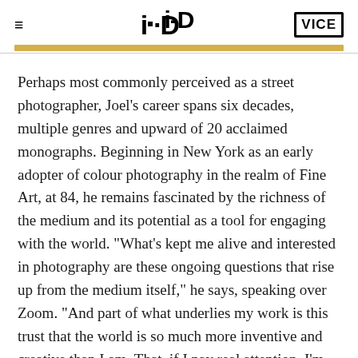i-D | VICE
Perhaps most commonly perceived as a street photographer, Joel's career spans six decades, multiple genres and upward of 20 acclaimed monographs. Beginning in New York as an early adopter of colour photography in the realm of Fine Art, at 84, he remains fascinated by the richness of the medium and its potential as a tool for engaging with the world. "What's kept me alive and interested in photography are these ongoing questions that rise up from the medium itself," he says, speaking over Zoom. "And part of what underlies my work is this trust that the world is so much more inventive and creative than I am. That, if I pay real attention, I'm going to see things that I've